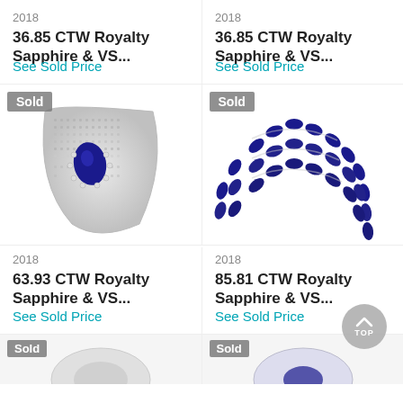2018
36.85 CTW Royalty Sapphire & VS...
See Sold Price
[Figure (photo): Jewelry item with 'Sold' badge - fan/shield shaped diamond and sapphire brooch/pendant with a pear-shaped blue sapphire center]
2018
36.85 CTW Royalty Sapphire & VS...
See Sold Price
[Figure (photo): Jewelry item with 'Sold' badge - multi-strand necklace with marquise blue sapphires in silver settings]
2018
63.93 CTW Royalty Sapphire & VS...
See Sold Price
2018
85.81 CTW Royalty Sapphire & VS...
See Sold Price